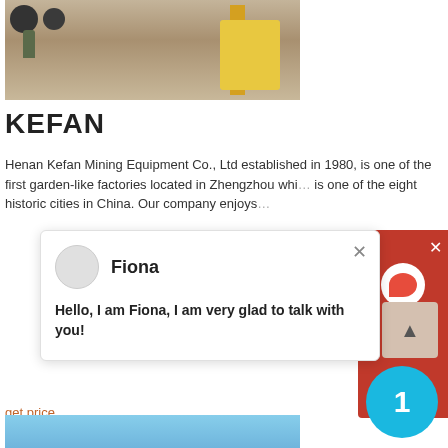[Figure (photo): Photo of mining/construction equipment and workers on sandy terrain with yellow machinery and large tires]
KEFAN
Henan Kefan Mining Equipment Co., Ltd established in 1980, is one of the first garden-like factories located in Zhengzhou whi... is one of the eight historic cities in China. Our company enjoys...
[Figure (screenshot): Chat widget popup showing avatar and name 'Fiona' with message: Hello, I am Fiona, I am very glad to talk with you!]
get price
[Figure (photo): Photo of large industrial mining/crushing equipment with blue steel frame structure and yellow cone crusher under blue sky]